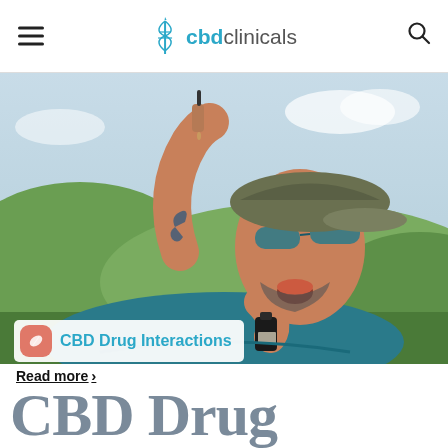cbdclinicals
[Figure (photo): Man with tattoo on his arm, wearing sunglasses and a cap, tilting his head back and dropping liquid from a dropper bottle into his mouth. He holds a small dark glass CBD oil bottle. Outdoor background with green hills and sky.]
CBD Drug Interactions
Read more >
CBD Drug